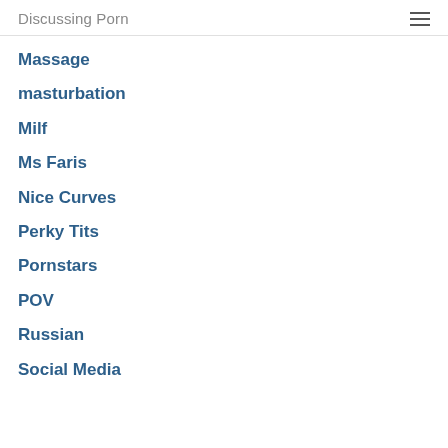Discussing Porn
Massage
masturbation
Milf
Ms Faris
Nice Curves
Perky Tits
Pornstars
POV
Russian
Social Media